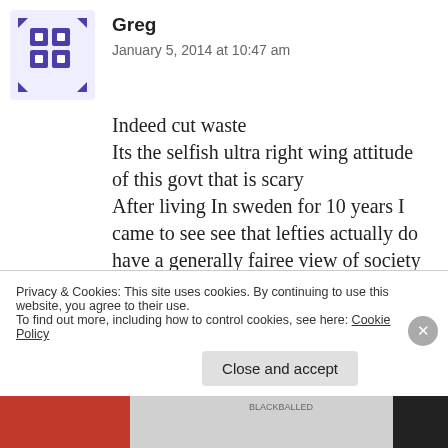[Figure (illustration): Avatar icon — blue/purple decorative grid pattern with arrows]
Greg
January 5, 2014 at 10:47 am
Indeed cut waste
Its the selfish ultra right wing attitude of this govt that is scary
After living In sweden for 10 years I came to see see that lefties actually do have a generally fairee view of society and the world in general,not so much a me,me and screw the rest attitude
Tell me anyone if left leaning views are so bad for a country then why do the
Privacy & Cookies: This site uses cookies. By continuing to use this website, you agree to their use.
To find out more, including how to control cookies, see here: Cookie Policy
Close and accept